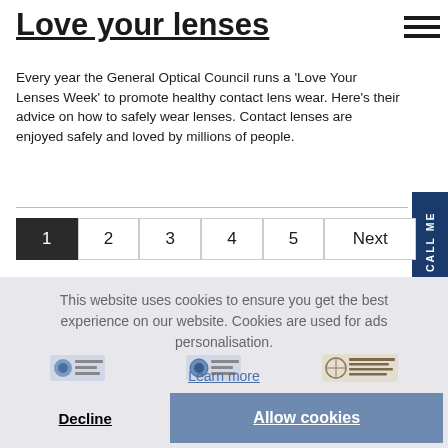Love your lenses
Every year the General Optical Council runs a 'Love Your Lenses Week' to promote healthy contact lens wear. Here's their advice on how to safely wear lenses. Contact lenses are enjoyed safely and loved by millions of people.
1  2  3  4  5  Next
This website uses cookies to ensure you get the best experience on our website. Cookies are used for ads personalisation.
Learn more
Decline
Allow cookies